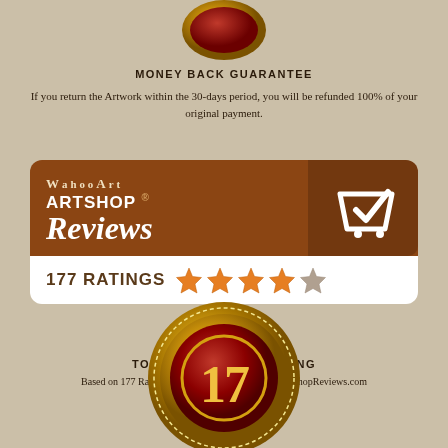[Figure (illustration): Gold medal/badge partially visible at top of page]
MONEY BACK GUARANTEE
If you return the Artwork within the 30-days period, you will be refunded 100% of your original payment.
[Figure (logo): WahooArt ArtShop Reviews badge with brown background, white text, cart/checkmark logo, and 177 Ratings with 4.5 stars on white bottom panel]
TOP SATISFACTION RATING
Based on 177 Ratings from Actual Customers on ArtShopReviews.com
[Figure (illustration): Gold and red circular medal/badge showing number 17, partially visible at bottom of page]